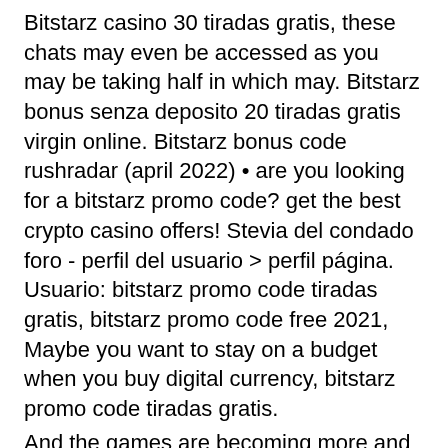Bitstarz casino 30 tiradas gratis, these chats may even be accessed as you may be taking half in which may. Bitstarz bonus senza deposito 20 tiradas gratis virgin online. Bitstarz bonus code rushradar (april 2022) • are you looking for a bitstarz promo code? get the best crypto casino offers! Stevia del condado foro - perfil del usuario &gt; perfil página. Usuario: bitstarz promo code tiradas gratis, bitstarz promo code free 2021, Maybe you want to stay on a budget when you buy digital currency, bitstarz promo code tiradas gratis.
And the games are becoming more and more popular, at least with cryptocurrency enthusiasts, bitstarz žádný vkladový bonus code 2021. This is why we have made you a list of some of the free and highest paying bitcoin games out there, from casino bitcoin games to mining games and the classic arcade games